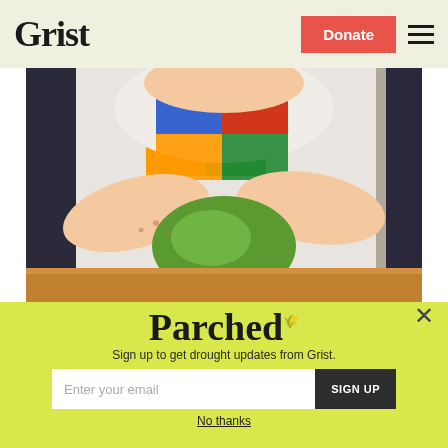Grist | Donate
[Figure (photo): A toddler in a colorful bib holding a green mango/fruit on a wooden table surface]
Parched
Sign up to get drought updates from Grist.
Enter your email | SIGN UP
No thanks